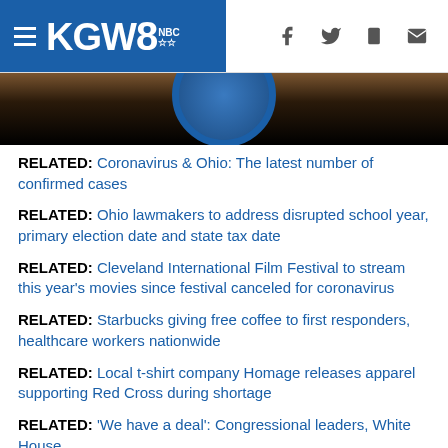KGW8
[Figure (photo): Partial photo showing a circular seal/emblem with blue border, mostly dark/black lower portion]
RELATED: Coronavirus & Ohio: The latest number of confirmed cases
RELATED: Ohio lawmakers to address disrupted school year, primary election date and state tax date
RELATED: Cleveland International Film Festival to stream this year's movies since festival canceled for coronavirus
RELATED: Starbucks giving free coffee to first responders, healthcare workers nationwide
RELATED: Local t-shirt company Homage releases apparel supporting Red Cross during shortage
RELATED: 'We have a deal': Congressional leaders, White House...